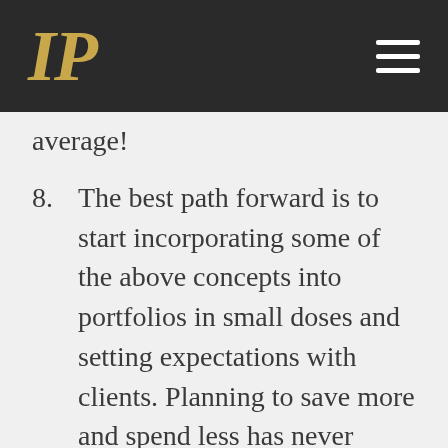IP
average!
8. The best path forward is to start incorporating some of the above concepts into portfolios in small doses and setting expectations with clients. Planning to save more and spend less has never ended badly and is especially important at this point…